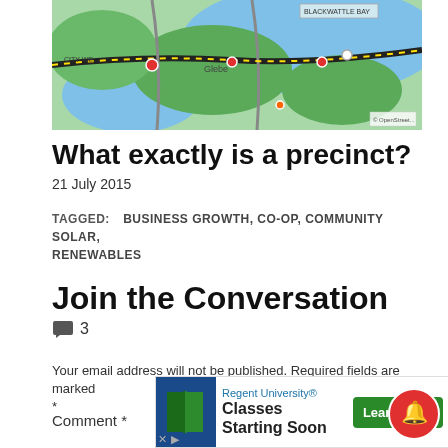[Figure (map): A street/area map showing Blackwattle Bay, Glebe, and surrounding areas with roads and green spaces.]
What exactly is a precinct?
21 July 2015
TAGGED: BUSINESS GROWTH, CO-OP, COMMUNITY SOLAR, RENEWABLES
Join the Conversation
💬 3
Your email address will not be published. Required fields are marked *
Comment *
[Figure (screenshot): Advertisement banner for Regent University with text 'Classes Starting Soon' and a 'Learn More' green button.]